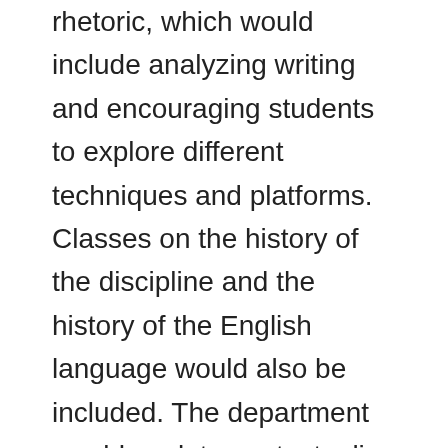rhetoric, which would include analyzing writing and encouraging students to explore different techniques and platforms. Classes on the history of the discipline and the history of the English language would also be included. The department would work to contextualize culture and values both through classes offered in English, and use partnerships with other departments so connections can be made across disciplines. Through this mix of classes and techniques, graduates should emerge from the program with a robust range of practical skills that can provide immediate and lasting benefits to them in their personal and professional lives.